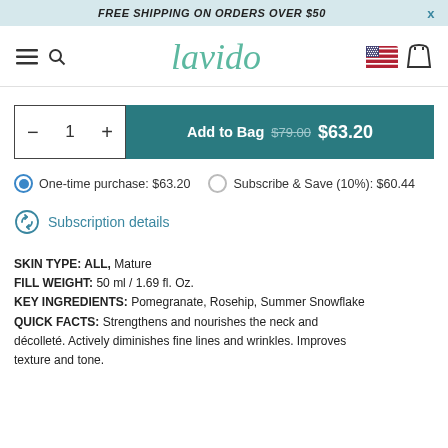FREE SHIPPING ON ORDERS OVER $50
[Figure (logo): Lavido brand logo in teal italic script font]
Add to Bag $79.00 $63.20
One-time purchase: $63.20    Subscribe & Save (10%): $60.44
Subscription details
SKIN TYPE: ALL, Mature
FILL WEIGHT: 50 ml / 1.69 fl. Oz.
KEY INGREDIENTS: Pomegranate, Rosehip, Summer Snowflake
QUICK FACTS: Strengthens and nourishes the neck and décolleté. Actively diminishes fine lines and wrinkles. Improves texture and tone.